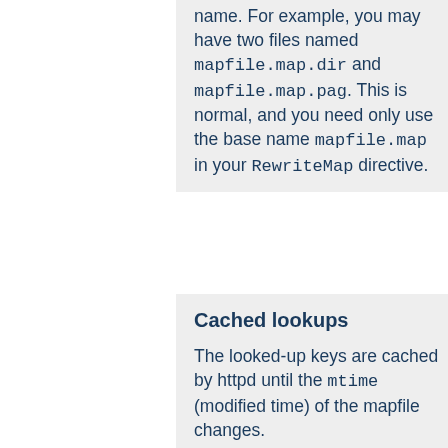name. For example, you may have two files named mapfile.map.dir and mapfile.map.pag. This is normal, and you need only use the base name mapfile.map in your RewriteMap directive.
Cached lookups
The looked-up keys are cached by httpd until the mtime (modified time) of the mapfile changes.